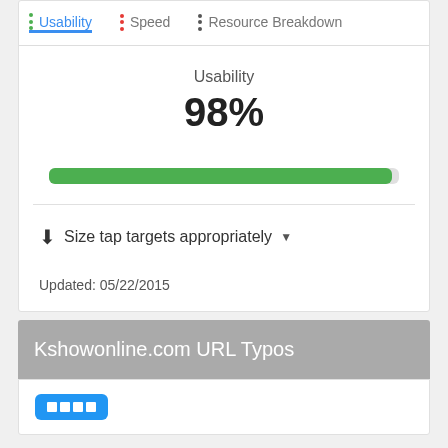Usability | Speed | Resource Breakdown
Usability
98%
[Figure (infographic): Green horizontal progress bar showing 98% usability score]
Size tap targets appropriately
Updated: 05/22/2015
Kshowonline.com URL Typos